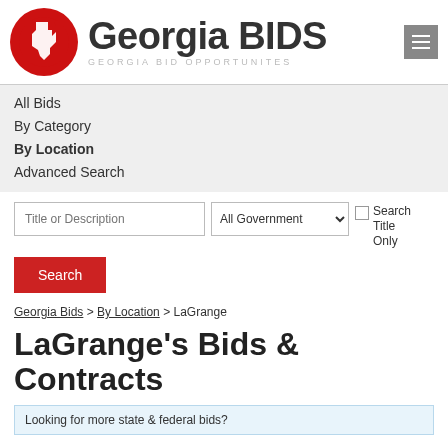[Figure (logo): Georgia BIDS logo with red circle containing Georgia state outline, and text 'Georgia BIDS' with subtitle 'GEORGIA BID OPPORTUNITES']
All Bids
By Category
By Location
Advanced Search
Title or Description | All Government ▾ | Search Title Only
Search
Georgia Bids > By Location > LaGrange
LaGrange's Bids & Contracts
Looking for more state & federal bids?